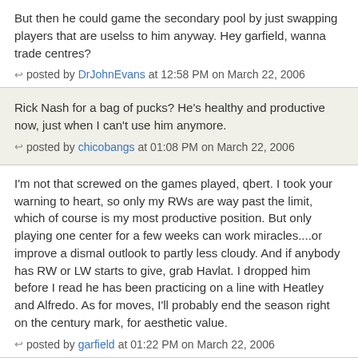But then he could game the secondary pool by just swapping players that are uselss to him anyway. Hey garfield, wanna trade centres?
posted by DrJohnEvans at 12:58 PM on March 22, 2006
Rick Nash for a bag of pucks? He's healthy and productive now, just when I can't use him anymore.
posted by chicobangs at 01:08 PM on March 22, 2006
I'm not that screwed on the games played, qbert. I took your warning to heart, so only my RWs are way past the limit, which of course is my most productive position. But only playing one center for a few weeks can work miracles....or improve a dismal outlook to partly less cloudy. And if anybody has RW or LW starts to give, grab Havlat. I dropped him before I read he has been practicing on a line with Heatley and Alfredo. As for moves, I'll probably end the season right on the century mark, for aesthetic value.
posted by garfield at 01:22 PM on March 22, 2006
I'll gloat when no one catches me. I've fluxtuated so wildly in the last three weeks (+ 4.5; -6?!?!) that I'm not going to crow until I know fo shizzle that I'm the man. Then I'm gonna rub it in grum's face until baseball season is over. He may be the baseball guru in our fair city - but this.. This here is HOCKEYTOWN